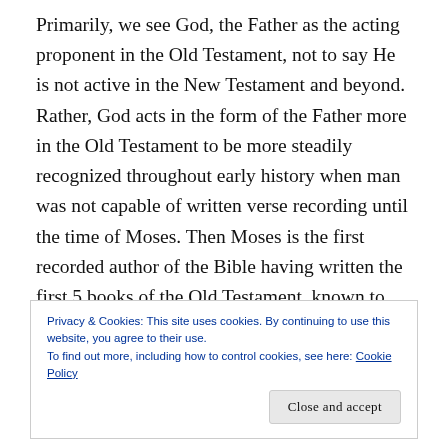Primarily, we see God, the Father as the acting proponent in the Old Testament, not to say He is not active in the New Testament and beyond. Rather, God acts in the form of the Father more in the Old Testament to be more steadily recognized throughout early history when man was not capable of written verse recording until the time of Moses. Then Moses is the first recorded author of the Bible having written the first 5 books of the Old Testament, known to the Jews as the Torah. God, the Father can be seen more as the one who sets the rules and terms, the one who makes the plans for eternity, and the sustainer of His
Privacy & Cookies: This site uses cookies. By continuing to use this website, you agree to their use.
To find out more, including how to control cookies, see here: Cookie Policy
Close and accept
from the beginning of creation. Just as the moon's